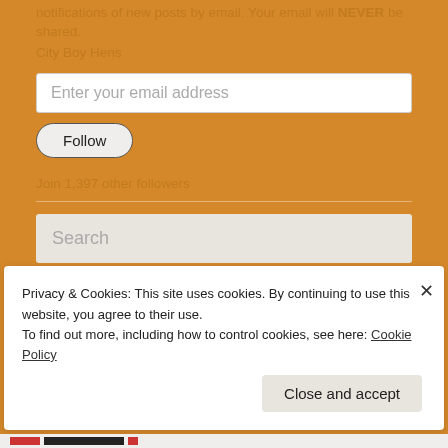notifications of new posts by email. Your email will NEVER be shared.
City Boy Hens
Enter your email address
Follow
Join 1,397 other followers
Search
Privacy & Cookies: This site uses cookies. By continuing to use this website, you agree to their use.
To find out more, including how to control cookies, see here: Cookie Policy
Close and accept